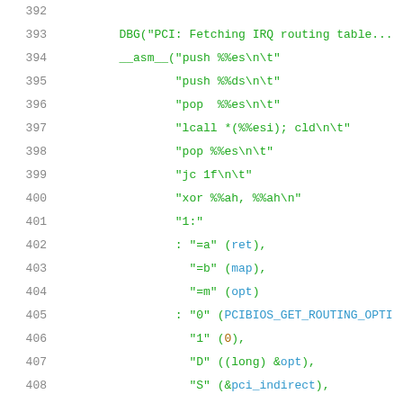[Figure (screenshot): Source code listing showing lines 392-412 of a C file with inline assembly for PCI IRQ routing table fetch using BIOS call. Line numbers in grey on left, code in green monospace font on white background.]